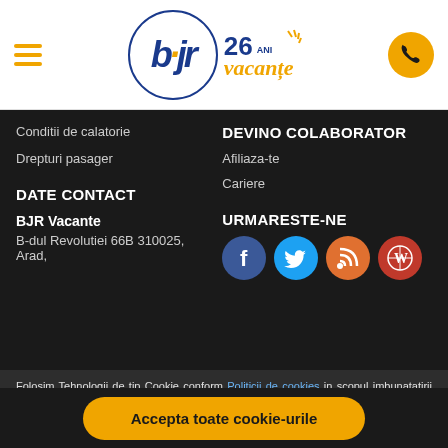[Figure (logo): BJR Vacante logo with 26 ani text and sun rays, with hamburger menu on left and phone button on right]
Conditii de calatorie
Drepturi pasager
DEVINO COLABORATOR
Afiliaza-te
Cariere
DATE CONTACT
URMARESTE-NE
BJR Vacante
B-dul Revolutiei 66B 310025, Arad,
[Figure (illustration): Social media icons: Facebook (blue circle), Twitter (light blue circle), RSS (orange circle), WordPress (red circle)]
Folosim Tehnologii de tip Cookie conform Politicii de cookies in scopul imbunatatirii performantelor website-ului, advertising si pentru analiza si personalizarea navigarii pe website. Prin apasarea butonului de accept sunteti de acord cu instalarea tuturor acestor cookies. Puteti modifica oricand preferintele pentru utilizarea cookies-urilor accesand sectiunea Politica de cookies | Setari
Accepta toate cookie-urile